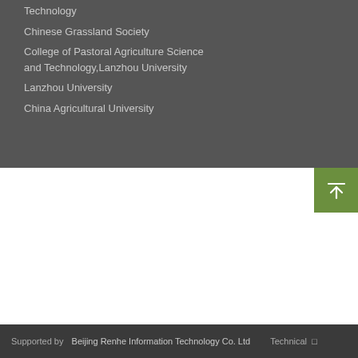Technology
Chinese Grassland Society
College of Pastoral Agriculture Science and Technology,Lanzhou University
Lanzhou University
China Agricultural University
[Figure (other): Scroll-to-top button with upward arrow icon on olive/green background]
Supported by  Beijing Renhe Information Technology Co. Ltd  Technical